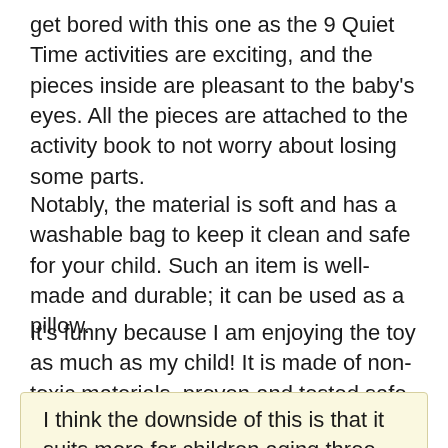get bored with this one as the 9 Quiet Time activities are exciting, and the pieces inside are pleasant to the baby's eyes. All the pieces are attached to the activity book to not worry about losing some parts.
Notably, the material is soft and has a washable bag to keep it clean and safe for your child. Such an item is well-made and durable; it can be used as a pillow.
It's funny because I am enjoying the toy as much as my child! It is made of non-toxic materials, proven and tested safe for kids.
I think the downside of this is that it suits more for children aging three years